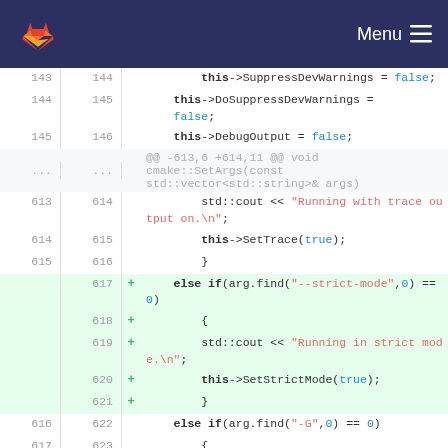[Figure (screenshot): GitLab navigation bar with logo and Menu icon]
Code diff view showing C++ source changes. Lines 144-145 show this->DoSuppressDevWarnings = false; and this->DebugOutput = false;. A hunk header shows @@ -613,6 +614,11 @@ void cmake::SetArgs(const std::vector<std::string>& args). Lines 613-615 show std::cout << 'Running with trace output on.\n'; this->SetTrace(true); }. Added lines 617-621 show else if(arg.find('--strict-mode',0) == 0) { std::cout << 'Running in strict mode.\n'; this->SetStrictMode(true); }. Lines 616-617 show else if(arg.find('-G',0) == 0) and {.